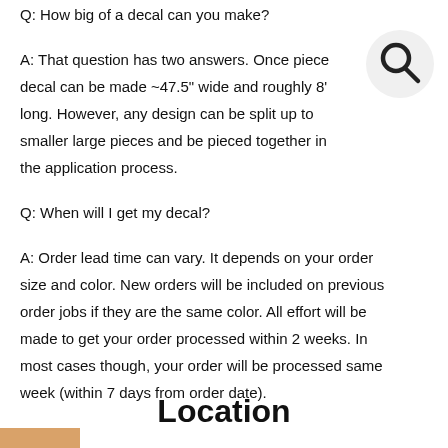Q: How big of a decal can you make?
A: That question has two answers. Once piece decal can be made ~47.5" wide and roughly 8' long. However, any design can be split up to smaller large pieces and be pieced together in the application process.
Q: When will I get my decal?
A: Order lead time can vary. It depends on your order size and color. New orders will be included on previous order jobs if they are the same color. All effort will be made to get your order processed within 2 weeks. In most cases though, your order will be processed same week (within 7 days from order date).
Location
[Figure (illustration): Search icon — magnifying glass in a light gray circle, top right corner]